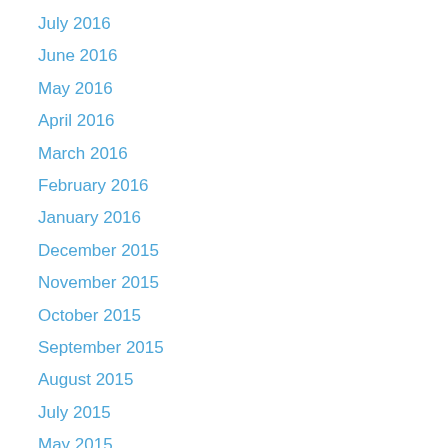July 2016
June 2016
May 2016
April 2016
March 2016
February 2016
January 2016
December 2015
November 2015
October 2015
September 2015
August 2015
July 2015
May 2015
April 2015
March 2015
February 2015
January 2015
December 2014
October 2014